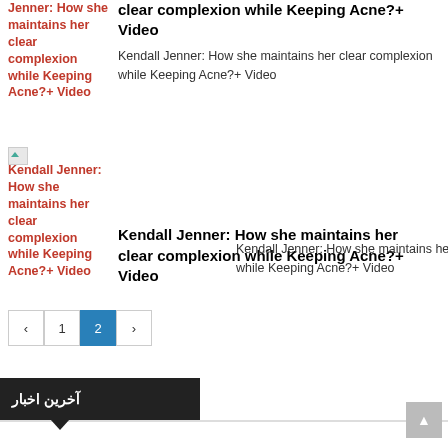Kendall Jenner: How she maintains her clear complexion while Keeping Acne?+ Video
Kendall Jenner: How she maintains her clear complexion while Keeping Acne?+ Video
[Figure (photo): Thumbnail image placeholder for article about Kendall Jenner]
Kendall Jenner: How she maintains her clear complexion while Keeping Acne?+ Video
Kendall Jenner: How she maintains her clear complexion while Keeping Acne?+ Video
Kendall Jenner: How she maintains her clear complexion while Keeping Acne?+ Video
آخرین اخبار